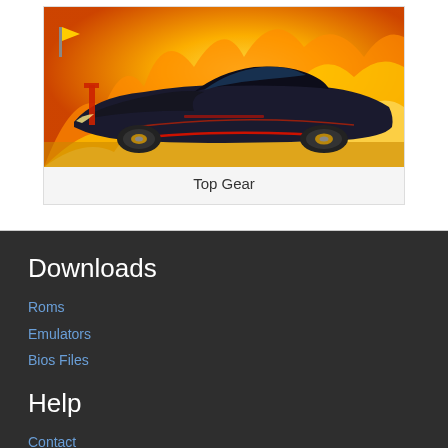[Figure (illustration): A black and red racing car (sports prototype/Le Mans style) with yellow/orange flame background and dramatic lighting, game cover art style illustration.]
Top Gear
Downloads
Roms
Emulators
Bios Files
Help
Contact